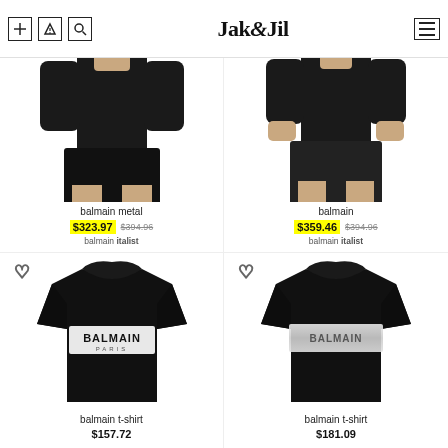Jak&Jil
[Figure (photo): Model wearing black t-shirt and black shorts, product: balmain metal]
balmain metal
$323.97 $394.96
balmain italist
[Figure (photo): Model wearing black outfit, product: balmain]
balmain
$359.46 $394.96
balmain italist
[Figure (photo): Black Balmain Paris t-shirt with white logo]
balmain t-shirt
$157.72
[Figure (photo): Black Balmain t-shirt with silver/white logo]
balmain t-shirt
$181.09